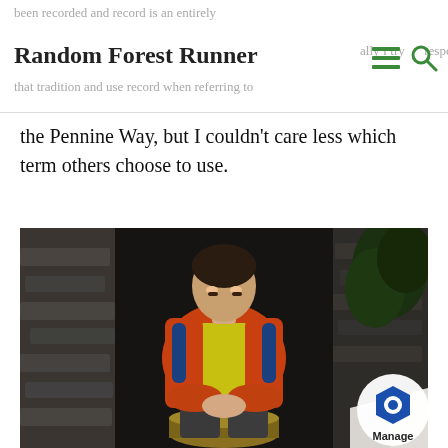been recorded and record is an entirely
Random Forest Runner  ally I try respect
that tradition and use record when referring to
the Pennine Way, but I couldn't care less which term others choose to use.
[Figure (photo): A young man in an orange jacket and yellow high-visibility vest sitting on what appears to be a barrel or stool, leaning forward with hands clasped, looking tired or resting. Background shows stone wall and dark surroundings at night.]
Manage